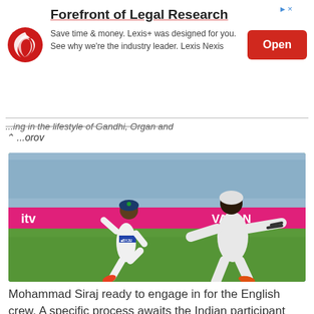[Figure (other): Advertisement banner for Lexis Nexis Forefront of Legal Research with logo, headline, body text, and Open button]
...ing in the lifestyle of Gandhi, Organ and Morov
[Figure (photo): Cricket players in white uniforms on a cricket ground. One player (Mohammad Siraj) running with arm raised, another player facing away. Crowd and advertising boards visible in background including 'itv' and 'VAJAN' signage.]
Mohammad Siraj ready to engage in for the English crew. A specific process awaits the Indian participant